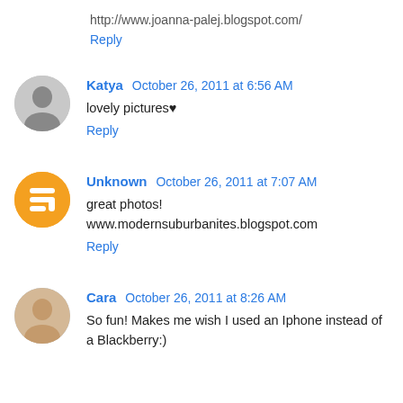http://www.joanna-palej.blogspot.com/
Reply
Katya  October 26, 2011 at 6:56 AM
lovely pictures♥
Reply
Unknown  October 26, 2011 at 7:07 AM
great photos!
www.modernsuburbanites.blogspot.com
Reply
Cara  October 26, 2011 at 8:26 AM
So fun! Makes me wish I used an Iphone instead of a Blackberry:)